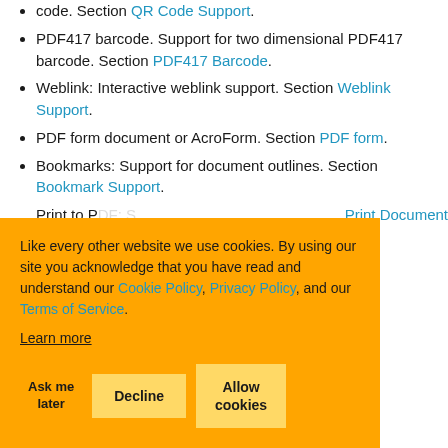code. Section QR Code Support.
PDF417 barcode. Support for two dimensional PDF417 barcode. Section PDF417 Barcode.
Weblink: Interactive weblink support. Section Weblink Support.
PDF form document or AcroForm. Section PDF form.
Bookmarks: Support for document outlines. Section Bookmark Support.
Print to PDF: Generate PDF document from ... Section Print Document
... Table Support
... o Files
... nd Files
... ata Files
... ages
... a stream. Section PDF Document Output.
Like every other website we use cookies. By using our site you acknowledge that you have read and understand our Cookie Policy, Privacy Policy, and our Terms of Service. Learn more
Ask me later   Decline   Allow cookies